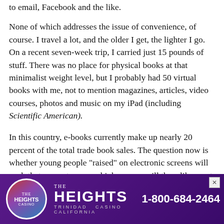to email, Facebook and the like.
None of which addresses the issue of convenience, of course. I travel a lot, and the older I get, the lighter I go. On a recent seven-week trip, I carried just 15 pounds of stuff. There was no place for physical books at that minimalist weight level, but I probably had 50 virtual books with me, not to mention magazines, articles, video courses, photos and music on my iPad (including Scientific American).
In this country, e-books currently make up nearly 20 percent of the total trade book sales. The question now is whether young people "raised" on electronic screens will push that percentage ever higher — or will they, like most of us old-timers, instinctively turn to paper when they
[Figure (infographic): Advertisement banner for The Heights Casino with logo, name, and phone number 1-800-684-2464 on purple background]